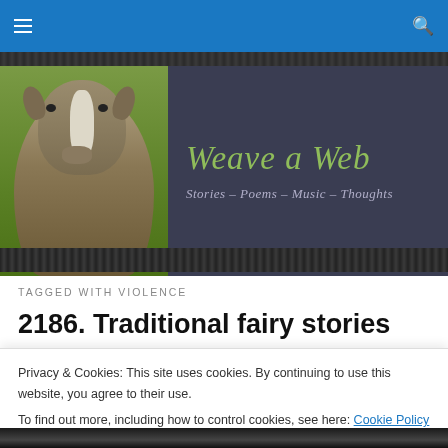Navigation bar with hamburger menu and search icon
[Figure (illustration): Website banner for 'Weave a Web' blog showing a goat photo on the left and dark background with cursive text on the right]
Weave a Web
Stories - Poems - Music - Thoughts
TAGGED WITH VIOLENCE
2186. Traditional fairy stories
Privacy & Cookies: This site uses cookies. By continuing to use this website, you agree to their use.
To find out more, including how to control cookies, see here: Cookie Policy
Close and accept